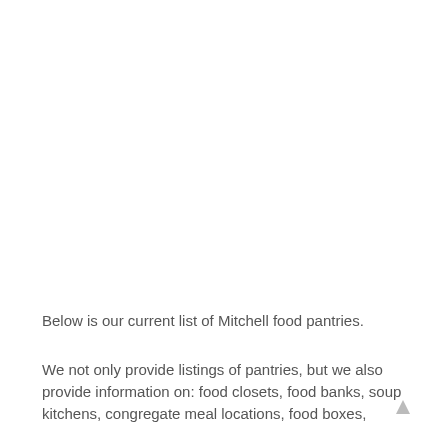Below is our current list of Mitchell food pantries.
We not only provide listings of pantries, but we also provide information on: food closets, food banks, soup kitchens, congregate meal locations, food boxes,